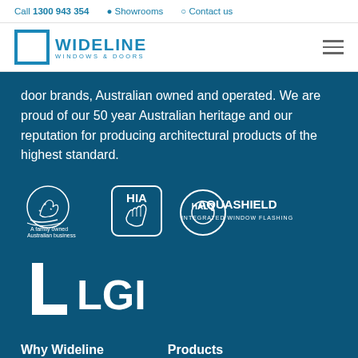Call 1300 943 354   Showrooms   Contact us
[Figure (logo): Wideline Windows & Doors logo with blue square icon]
door brands, Australian owned and operated. We are proud of our 50 year Australian heritage and our reputation for producing architectural products of the highest standard.
[Figure (logo): Three logos: A family owned Australian business (with kangaroo), HIA (Housing Industry Association), HALO AQUASHIELD Integrated Window Flashing]
[Figure (logo): LGI logo in white on dark blue background]
Why Wideline
Products
About
Our Range